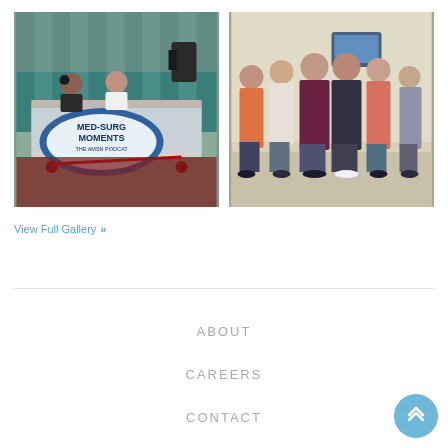[Figure (photo): Photo of two people sitting at a table with a 'MED-SURG MOMENTS THE AMSN PODCAST' banner in front, with red rope barriers and camera equipment visible in the background at a conference or event venue.]
[Figure (photo): Group photo of approximately six to seven women standing together in a room, posed for the camera. One appears to be wearing a patterned dress.]
View Full Gallery »
ABOUT
CAREERS
CONTACT